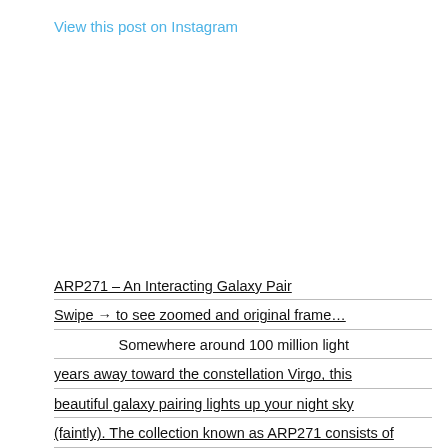View this post on Instagram
[Figure (photo): Embedded Instagram post placeholder (image area)]
ARP271 – An Interacting Galaxy Pair
Swipe → to see zoomed and original frame…
                   Somewhere around 100 million light years away toward the constellation Virgo, this beautiful galaxy pairing lights up your night sky (faintly). The collection known as ARP271 consists of NGC5427, the larger face on spiral seen here on the right, and NGC5426 on the left.                These two are currently in a galactic ballet, passing each